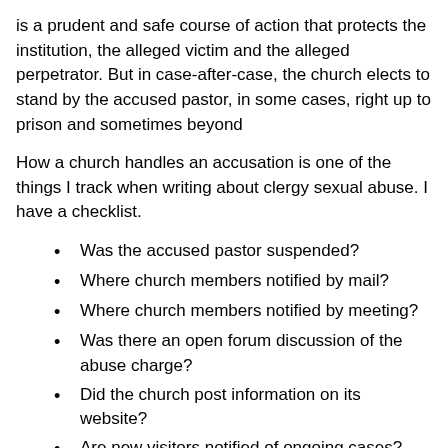is a prudent and safe course of action that protects the institution, the alleged victim and the alleged perpetrator. But in case-after-case, the church elects to stand by the accused pastor, in some cases, right up to prison and sometimes beyond
How a church handles an accusation is one of the things I track when writing about clergy sexual abuse. I have a checklist.
Was the accused pastor suspended?
Where church members notified by mail?
Where church members notified by meeting?
Was there an open forum discussion of the abuse charge?
Did the church post information on its website?
Are new visitors notified of ongoing cases?
The list goes on and on. I'll publish the full list at some point if readers are interested.